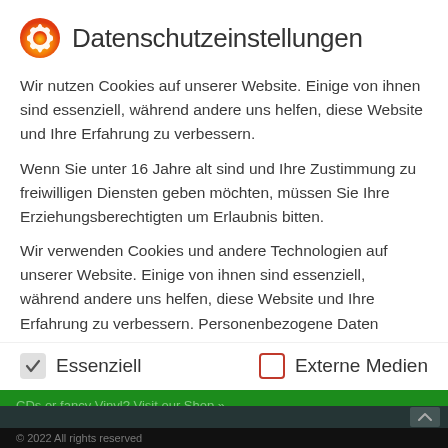Datenschutzeinstellungen
Wir nutzen Cookies auf unserer Website. Einige von ihnen sind essenziell, während andere uns helfen, diese Website und Ihre Erfahrung zu verbessern.
Wenn Sie unter 16 Jahre alt sind und Ihre Zustimmung zu freiwilligen Diensten geben möchten, müssen Sie Ihre Erziehungsberechtigten um Erlaubnis bitten.
Wir verwenden Cookies und andere Technologien auf unserer Website. Einige von ihnen sind essenziell, während andere uns helfen, diese Website und Ihre Erfahrung zu verbessern. Personenbezogene Daten können verarbeitet werden (z. B. IP-Adressen), z. B. für personalisierte Anzeigen und Inhalte oder
Essenziell
Externe Medien
CDs or fancy Vinyl? Visit our Shop »
© 2022 All rights reserved